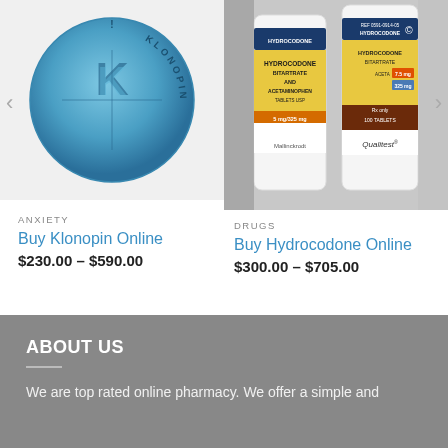[Figure (photo): Blue Klonopin tablet with K marked on it, round shape with KLONOPIN text around the edge]
ANXIETY
Buy Klonopin Online
$230.00 – $590.00
[Figure (photo): Two white prescription bottles labeled HYDROCODONE BITARTRATE AND ACETAMINOPHEN TABLETS USP, one Mallinckrodt and one Qualitest brand]
DRUGS
Buy Hydrocodone Online
$300.00 – $705.00
ABOUT US
We are top rated online pharmacy. We offer a simple and